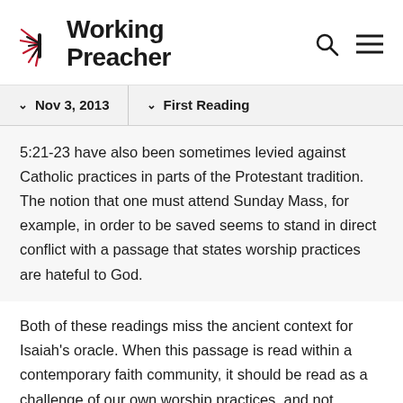Working Preacher
Nov 3, 2013 | First Reading
5:21-23 have also been sometimes levied against Catholic practices in parts of the Protestant tradition. The notion that one must attend Sunday Mass, for example, in order to be saved seems to stand in direct conflict with a passage that states worship practices are hateful to God.
Both of these readings miss the ancient context for Isaiah's oracle. When this passage is read within a contemporary faith community, it should be read as a challenge of our own worship practices, and not somebody else's.